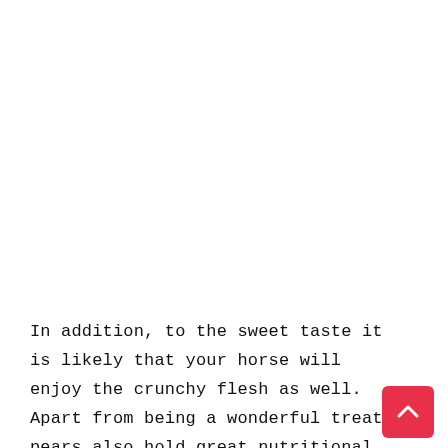In addition, to the sweet taste it is likely that your horse will enjoy the crunchy flesh as well. Apart from being a wonderful treat, pears also hold great nutritional value.